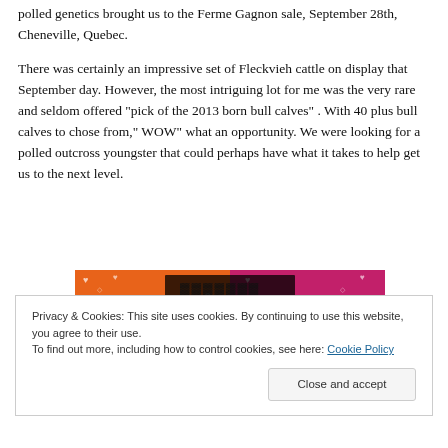polled genetics brought us to the Ferme Gagnon sale, September 28th, Cheneville, Quebec.
There was certainly an impressive set of Fleckvieh cattle on display that September day. However, the most intriguing lot for me was the very rare and seldom offered “pick of the 2013 born bull calves” . With 40 plus bull calves to chose from,” WOW” what an opportunity. We were looking for a polled outcross youngster that could perhaps have what it takes to help get us to the next level.
[Figure (other): Decorative banner with orange and pink/magenta sections with hearts and geometric patterns, and dark bold text overlay in the center]
Privacy & Cookies: This site uses cookies. By continuing to use this website, you agree to their use.
To find out more, including how to control cookies, see here: Cookie Policy